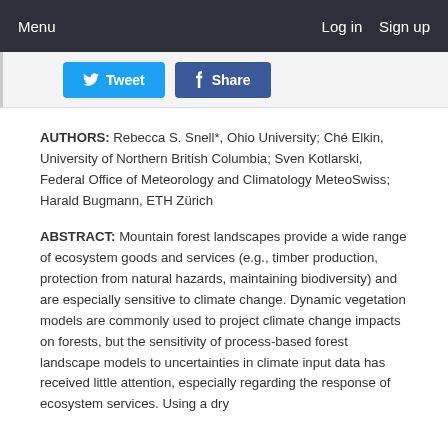Menu   Log in  Sign up
[Figure (infographic): Social sharing buttons: Tweet button (blue, Twitter bird icon) and Share button (dark blue, Facebook f icon)]
AUTHORS: Rebecca S. Snell*, Ohio University; Ché Elkin, University of Northern British Columbia; Sven Kotlarski, Federal Office of Meteorology and Climatology MeteoSwiss; Harald Bugmann, ETH Zürich
ABSTRACT: Mountain forest landscapes provide a wide range of ecosystem goods and services (e.g., timber production, protection from natural hazards, maintaining biodiversity) and are especially sensitive to climate change. Dynamic vegetation models are commonly used to project climate change impacts on forests, but the sensitivity of process-based forest landscape models to uncertainties in climate input data has received little attention, especially regarding the response of ecosystem services. Using a dry